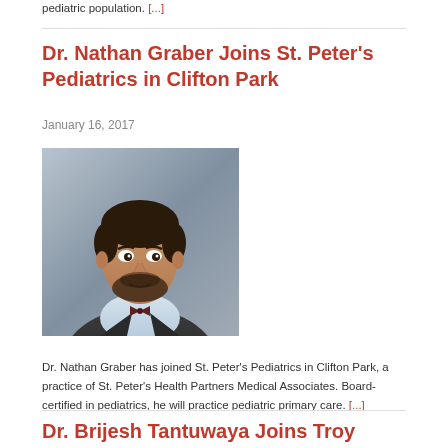pediatric population. [...]
Dr. Nathan Graber Joins St. Peter's Pediatrics in Clifton Park
January 16, 2017
[Figure (photo): Professional headshot of Dr. Nathan Graber, a man with dark hair and a beard wearing a dark suit with a bow tie, against a gray background.]
Dr. Nathan Graber has joined St. Peter's Pediatrics in Clifton Park, a practice of St. Peter's Health Partners Medical Associates. Board-certified in pediatrics, he will practice pediatric primary care. [...]
Dr. Brijesh Tantuwaya Joins Troy Pediatric